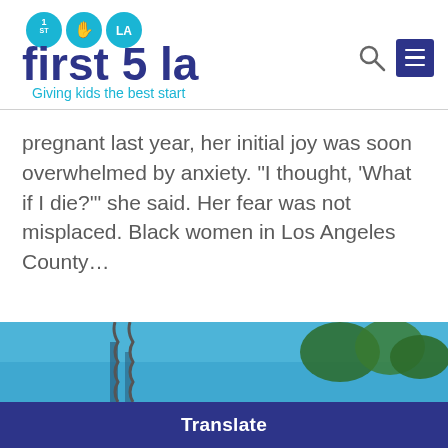[Figure (logo): First 5 LA logo with tagline 'Giving kids the best start']
pregnant last year, her initial joy was soon overwhelmed by anxiety. “I thought, ‘What if I die?’” she said. Her fear was not misplaced. Black women in Los Angeles County…
[Figure (photo): Outdoor photo showing blue sky with structures and trees]
Translate